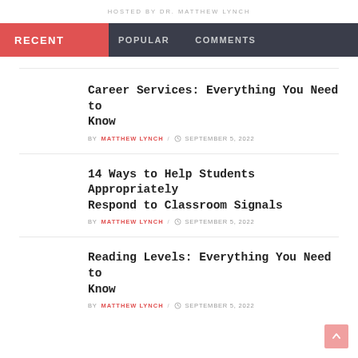HOSTED BY DR. MATTHEW LYNCH
RECENT | POPULAR | COMMENTS
Career Services: Everything You Need to Know
BY MATTHEW LYNCH / SEPTEMBER 5, 2022
14 Ways to Help Students Appropriately Respond to Classroom Signals
BY MATTHEW LYNCH / SEPTEMBER 5, 2022
Reading Levels: Everything You Need to Know
BY MATTHEW LYNCH / SEPTEMBER 5, 2022